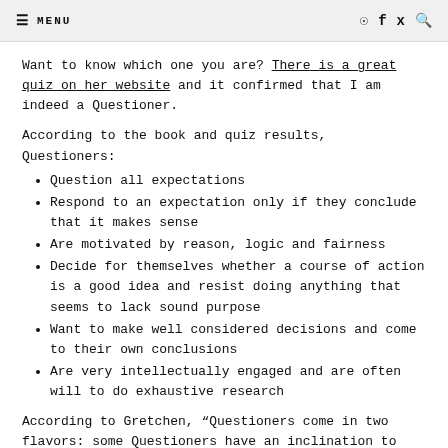≡ MENU  [instagram] [facebook] [twitter] [search]
Want to know which one you are? There is a great quiz on her website and it confirmed that I am indeed a Questioner.
According to the book and quiz results, Questioners:
Question all expectations
Respond to an expectation only if they conclude that it makes sense
Are motivated by reason, logic and fairness
Decide for themselves whether a course of action is a good idea and resist doing anything that seems to lack sound purpose
Want to make well considered decisions and come to their own conclusions
Are very intellectually engaged and are often will to do exhaustive research
According to Gretchen, “Questioners come in two flavors: some Questioners have an inclination to Uphold, and others have an inclination to Rebel; the first type accepts expectations fairly